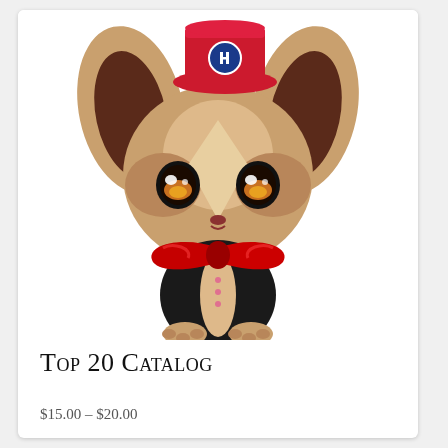[Figure (illustration): Cartoon chihuahua dog wearing a red top hat with a blue circular emblem, a red bow tie, and a black tuxedo with pink buttons, sitting with paws crossed on a white background.]
Top 20 Catalog
$15.00 – $20.00